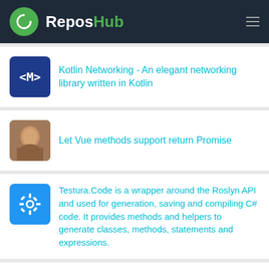ReposHub
Kotlin Networking - An elegant networking library written in Kotlin
Let Vue methods support return Promise
Testura.Code is a wrapper around the Roslyn API and used for generation, saving and compiling C# code. It provides methods and helpers to generate classes, methods, statements and expressions.
Sample used to practice Kotlin and Android Architecture Components.
The text is cut off at the bottom